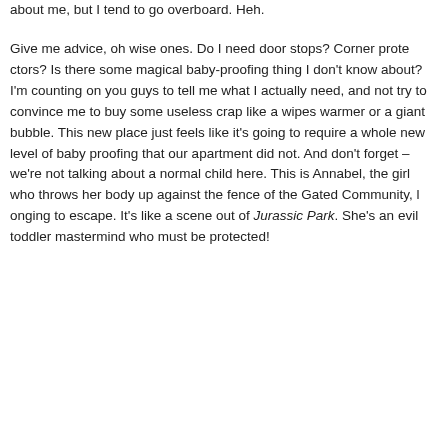about me, but I tend to go overboard. Heh.
Give me advice, oh wise ones. Do I need door stops? Corner protectors? Is there some magical baby-proofing thing I don't know about? I'm counting on you guys to tell me what I actually need, and not try to convince me to buy some useless crap like a wipes warmer or a giant bubble. This new place just feels like it's going to require a whole new level of baby proofing that our apartment did not. And don't forget – we're not talking about a normal child here. This is Annabel, the girl who throws her body up against the fence of the Gated Community, longing to escape. It's like a scene out of Jurassic Park. She's an evil toddler mastermind who must be protected!